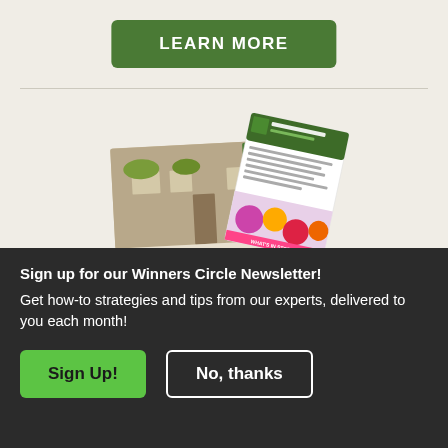[Figure (illustration): A green LEARN MORE button at the top of the page]
[Figure (illustration): Illustration of The Gardener's Idea Book catalog cover showing a house exterior with flower baskets, overlapping with a Winner's Circle newsletter page showing colorful flowers]
Sign Up!
Be inspired with our Gardener's Idea Book and Winner's Circle® newsletter
Sign up for our Winners Circle Newsletter! Get how-to strategies and tips from our experts, delivered to you each month!
[Figure (illustration): Sign Up button (green) and No, thanks button (dark with white border)]